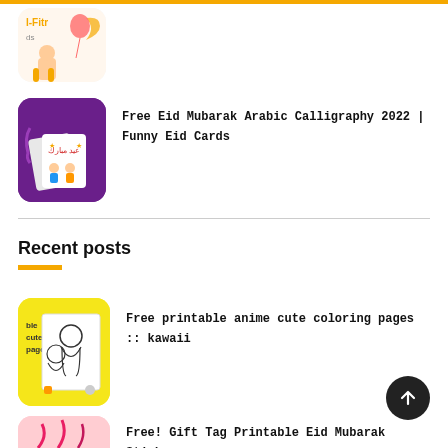[Figure (illustration): Partial thumbnail at top - Eid al-Fitr themed illustration with colorful characters on light background, partially cropped]
[Figure (illustration): Purple rounded rectangle thumbnail with Eid Mubarak greeting cards showing Arabic calligraphy and cartoon children]
Free Eid Mubarak Arabic Calligraphy 2022 | Funny Eid Cards
Recent posts
[Figure (illustration): Yellow rounded rectangle thumbnail with anime/kawaii coloring pages showing cartoon characters in black and white]
Free printable anime cute coloring pages :: kawaii
[Figure (illustration): Partial pink/red thumbnail at bottom - gift tag printable Eid Mubarak stickers]
Free! Gift Tag Printable Eid Mubarak Stickers